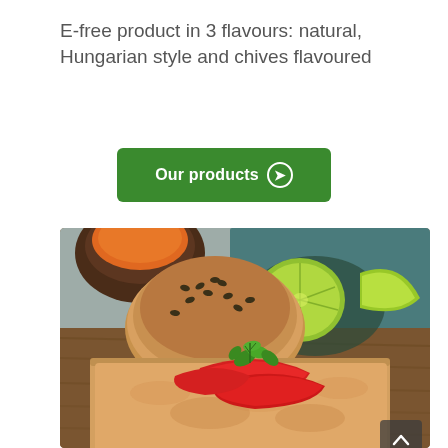E-free product in 3 flavours: natural, Hungarian style and chives flavoured
[Figure (other): Green rounded rectangle button with white bold text 'Our products' and a circled arrow icon on the right]
[Figure (photo): Food photo showing open-faced bread topped with a spread, red pepper slices, and fresh herb leaves; a seeded bread roll sits behind; a halved lime and a dark bowl with orange spice are in the background on a wooden board]